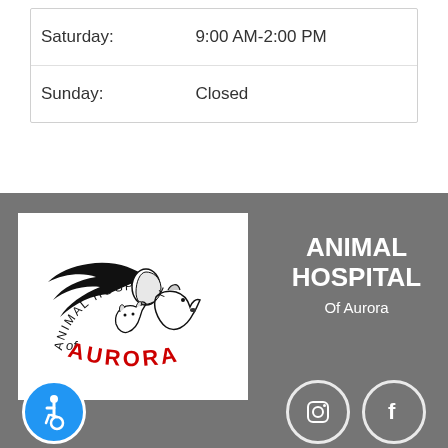| Saturday: | 9:00 AM-2:00 PM |
| Sunday: | Closed |
[Figure (logo): Animal Hospital of Aurora logo — circular text reading 'Animal Hospital' with silhouette illustration of a woman with flowing hair alongside a dog and cat, and 'of AURORA' in red text at the bottom]
ANIMAL HOSPITAL Of Aurora
[Figure (infographic): Accessibility wheelchair icon (blue circle background, white figure in wheelchair), Instagram icon (circle outline with camera symbol), Facebook icon (circle outline with 'f' letter)]